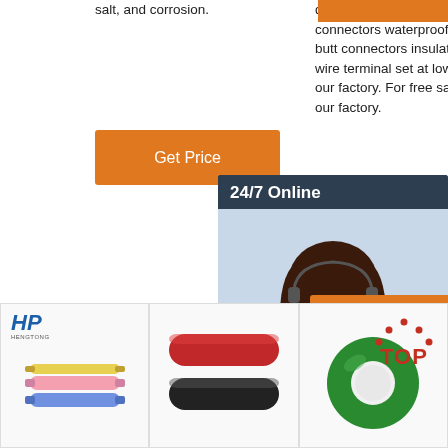salt, and corrosion.
[Figure (other): Orange 'Get Price' button (left column)]
discount 100 pcs solder seal wire connectors waterproof heat shrink butt connectors insulated electrical wire terminal set at low price from our factory. For free sample, contact our factory.
[Figure (other): Orange rectangle at top right]
[Figure (other): 24/7 Online chat sidebar card with customer service representative photo and QUOTATION button]
[Figure (other): Orange 'Get Price' button (middle column)]
[Figure (photo): Product image: colored heat shrink solder seal wire connectors with HP logo]
[Figure (photo): Product image: black and red heat shrink tubing tubes]
[Figure (photo): Product image: green electrical tape roll with TOP badge]